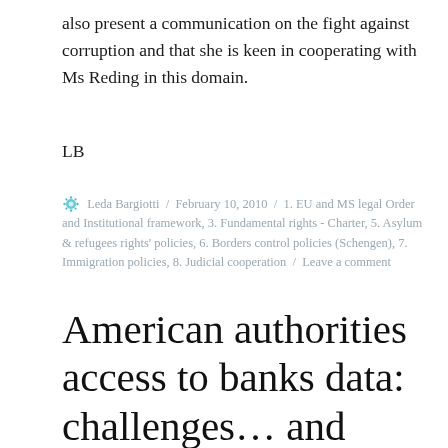also present a communication on the fight against corruption and that she is keen in cooperating with Ms Reding in this domain.
LB
Leda Bargiotti / February 10, 2010 / 1. EU and MS legal Order and Institutional framework, 3. Fundamental rights - Charter, 5. Asylum & refugees rights' policies, 6. Borders control policies (Schengen), 7. Immigration policies, 8. Judicial cooperation / Leave a comment
American authorities access to banks data: challenges… and perspectives